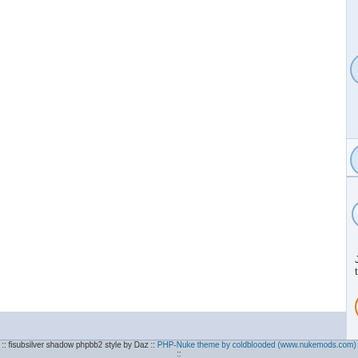Hello, Played in 1999 or so, and again over 10-15 years ago. | 1
The old mantle.. | 7
Returning...maybe | 10
Advice on arenas | 5
Display topics from p
Duel2 Forum Index » New and R
Jump to: Select a forum
New posts
No new posts
New posts [ Popular ]
No new posts [ Popular ]
New posts [ Locked ]
No new posts [ Locked ]
Powered by phpBB
Version 2.0.6 of PHP-Nuke Port by T
:: fisubsilver shadow phpbb2 style by Daz :: PHP-Nuke theme by coldblooded (www.nukemods.com) ::